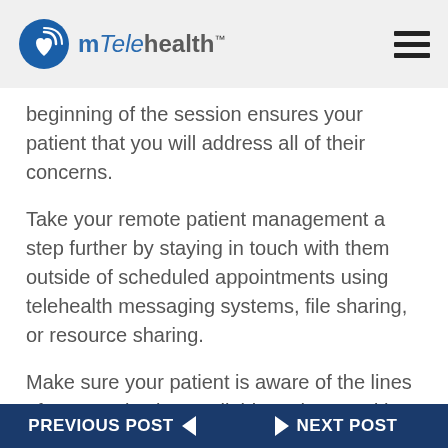mTelehealth
beginning of the session ensures your patient that you will address all of their concerns.
Take your remote patient management a step further by staying in touch with them outside of scheduled appointments using telehealth messaging systems, file sharing, or resource sharing.
Make sure your patient is aware of the lines of communication available to them and how they can contact a member of their circle should they
PREVIOUS POST   NEXT POST